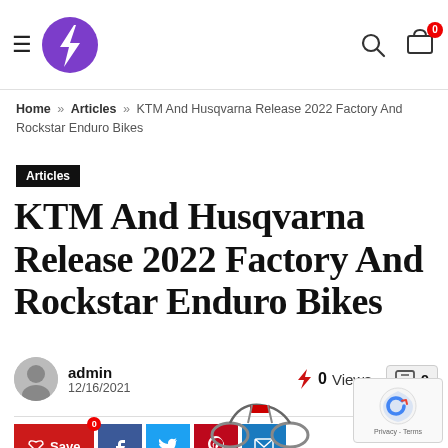Navigation bar with hamburger menu, logo, search icon, and cart (0)
Home » Articles » KTM And Husqvarna Release 2022 Factory And Rockstar Enduro Bikes
Articles
KTM And Husqvarna Release 2022 Factory And Rockstar Enduro Bikes
admin 12/16/2021  0 Views  0
[Figure (other): Partial view of a motorcycle at the bottom of the page]
[Figure (other): reCAPTCHA widget with Privacy - Terms text]